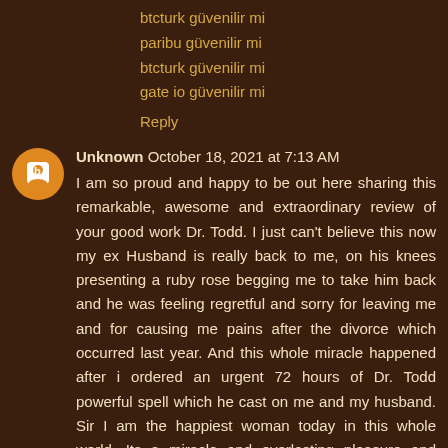btcturk güvenilir mi
paribu güvenilir mi
btcturk güvenilir mi
gate io güvenilir mi
Reply
Unknown  October 18, 2021 at 7:13 AM
I am so proud and happy to be out here sharing this remarkable, awesome and extraordinary review of your good work Dr. Todd. I just can't believe this now my ex Husband is really back to me, on his knees presenting a ruby rose begging me to take him back and he was feeling regretful and sorry for leaving me and for causing me pains after the divorce which occurred last year. And this whole miracle happened after i ordered an urgent 72 hours of Dr. Todd powerful spell which he cast on me and my husband. Sir I am the happiest woman today in this whole world. Its a miracle and everlasting pleasure and cheerfulness for me and my family today.. I am so happy now and i don't know how much to convey my thankfulness and appreciation to